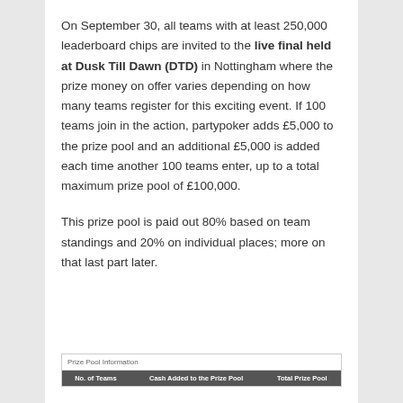On September 30, all teams with at least 250,000 leaderboard chips are invited to the live final held at Dusk Till Dawn (DTD) in Nottingham where the prize money on offer varies depending on how many teams register for this exciting event. If 100 teams join in the action, partypoker adds £5,000 to the prize pool and an additional £5,000 is added each time another 100 teams enter, up to a total maximum prize pool of £100,000.
This prize pool is paid out 80% based on team standings and 20% on individual places; more on that last part later.
| No. of Teams | Cash Added to the Prize Pool | Total Prize Pool |
| --- | --- | --- |